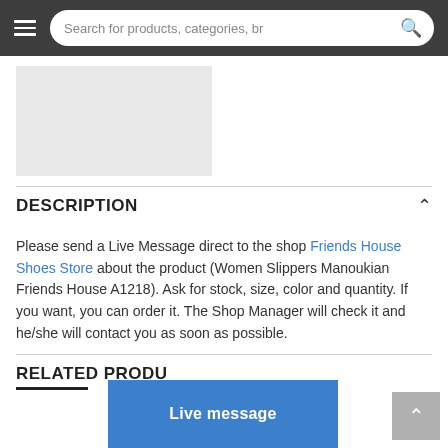Search for products, categories, br
[Figure (other): Product image placeholder — light grey rectangle]
DESCRIPTION
Please send a Live Message direct to the shop Friends House Shoes Store about the product (Women Slippers Manoukian Friends House A1218). Ask for stock, size, color and quantity. If you want, you can order it. The Shop Manager will check it and he/she will contact you as soon as possible.
RELATED PRODU